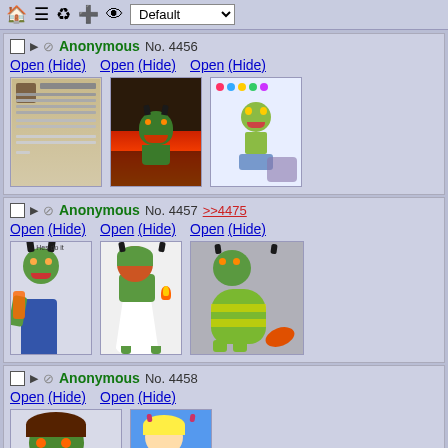Toolbar with home, menu, refresh, add, eye icons and Default dropdown
☐ ▶ ⊘ Anonymous No. 4456
Open (Hide)  Open (Hide)  Open (Hide)
[Figure (screenshot): Three thumbnail images in post 4456: a text/forum screenshot, a cartoon demon character with fire background, a colorful fantasy creature drawing]
☐ ▶ ⊘ Anonymous No. 4457 >>4475
Open (Hide)  Open (Hide)  Open (Hide)
[Figure (screenshot): Three thumbnail images in post 4457: a green demon character drawing, a green character in white dress with fire, a yellow-green striped creature sitting]
☐ ▶ ⊘ Anonymous No. 4458
Open (Hide)  Open (Hide)
[Figure (screenshot): Two thumbnail images in post 4458: a green troll/demon character with brown hair, a pink fairy/demon character on blue background]
☐ ▶ ⊘ Anonymous No. 4459 >>475...